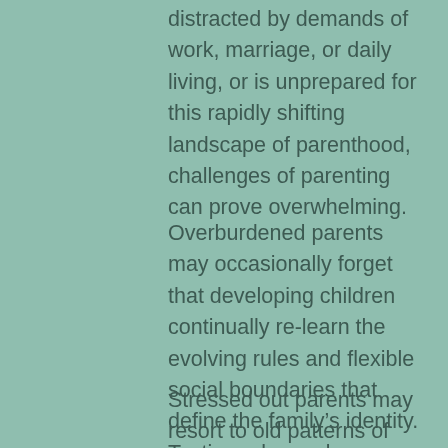distracted by demands of work, marriage, or daily living, or is unprepared for this rapidly shifting landscape of parenthood, challenges of parenting can prove overwhelming.
Overburdened parents may occasionally forget that developing children continually re-learn the evolving rules and flexible social boundaries that define the family’s identity.  Testing rules and challenging authority are natural parts of youth development.
Stressed out parents may resort to old patterns of interaction between adults and youth that were modeled by their own parents, sometimes in unhealthy or harmful ways.  Ask any parent and each will have a bucketful of “regrets” when